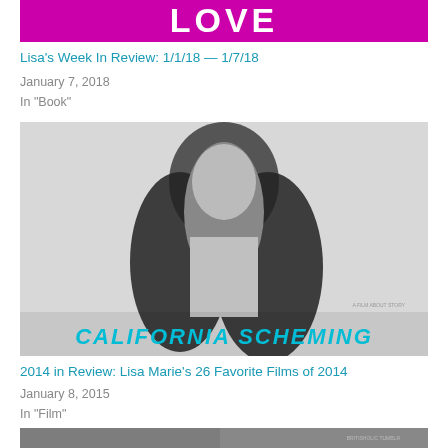[Figure (photo): Purple/magenta banner with large white text reading LOVE]
Lisa's Week In Review: 1/1/18 — 1/7/18
January 7, 2018
In "Book"
[Figure (photo): Black and white photo of a woman with long dark wavy hair, partially undressed, with text 'CALIFORNIA SCHEMING' at the bottom]
2014 in Review: Lisa Marie's 26 Favorite Films of 2014
January 8, 2015
In "Film"
[Figure (photo): Black and white photo, partially visible at bottom of page]